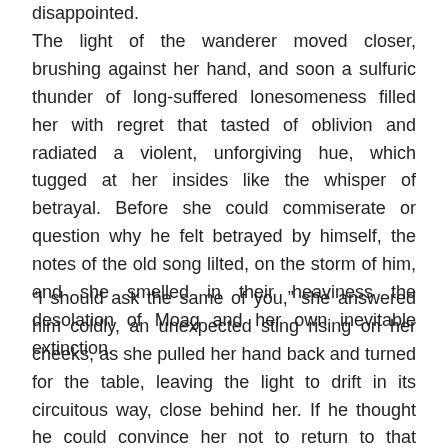disappointed.
The light of the wanderer moved closer, brushing against her hand, and soon a sulfuric thunder of long-suffered lonesomeness filled her with regret that tasted of oblivion and radiated a violent, unforgiving hue, which tugged at her insides like the whisper of betrayal. Before she could commiserate or question why he felt betrayed by himself, the notes of the old song lilted, on the storm of him, and she smelled in their heaviness the desolation of Moag and her own inevitable extinction.
“I should ask the same of you,” she answered him coldly, an unexpected sting rising on her cheeks, as she pulled her hand back and turned for the table, leaving the light to drift in its circuitous way, close behind her. If he thought he could convince her not to return to that tunnel, he was mistaken.